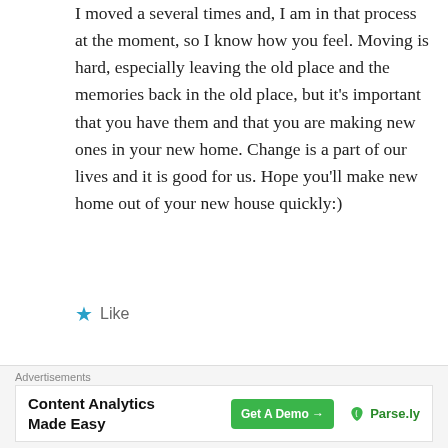I moved a several times and, I am in that process at the moment, so I know how you feel. Moving is hard, especially leaving the old place and the memories back in the old place, but it's important that you have them and that you are making new ones in your new home. Change is a part of our lives and it is good for us. Hope you'll make new home out of your new house quickly:)
★ Like
[Figure (photo): Circular avatar photo of a person]
bkpyett
Advertisements
Content Analytics Made Easy  Get A Demo →  Parse.ly